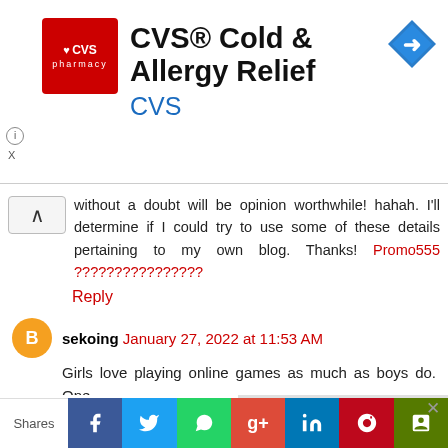[Figure (screenshot): CVS Pharmacy advertisement banner with CVS logo and 'CVS® Cold & Allergy Relief' title, navigation arrow icon on right]
without a doubt will be opinion worthwhile! hahah. I'll determine if I could try to use some of these details pertaining to my own blog. Thanks! Promo555 ????????????????
Reply
sekoing  January 27, 2022 at 11:53 AM
Girls love playing online games as much as boys do. One
[Figure (photo): We Are Hiring! advertisement with Warehouse text on yellow background, hand holding sign]
Recommended for you
Jobs in...
Shares  [Facebook] [Twitter] [WhatsApp] [Google+] [LinkedIn] [Pinterest] [Bookmark]